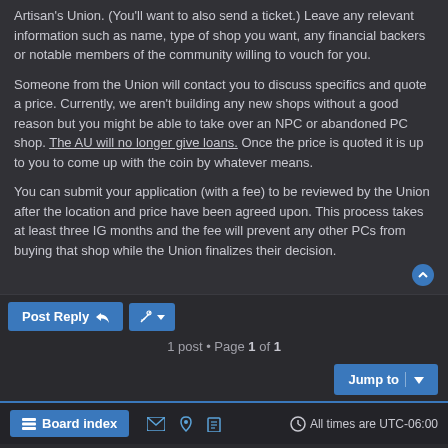Artisan's Union. (You'll want to also send a ticket.) Leave any relevant information such as name, type of shop you want, any financial backers or notable members of the community willing to vouch for you.
Someone from the Union will contact you to discuss specifics and quote a price. Currently, we aren't building any new shops without a good reason but you might be able to take over an NPC or abandoned PC shop. The AU will no longer give loans. Once the price is quoted it is up to you to come up with the coin by whatever means.
You can submit your application (with a fee) to be reviewed by the Union after the location and price have been agreed upon. This process takes at least three IG months and the fee will prevent any other PCs from buying that shop while the Union finalizes their decision.
1 post • Page 1 of 1
Jump to
Board index
All times are UTC-06:00
Powered by phpBB® Forum Software © phpBB Limited Black Style by Arty